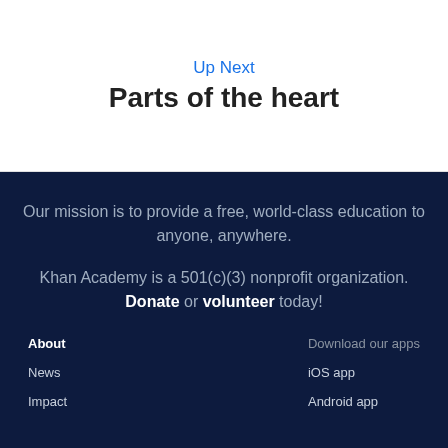Up Next
Parts of the heart
Our mission is to provide a free, world-class education to anyone, anywhere.
Khan Academy is a 501(c)(3) nonprofit organization. Donate or volunteer today!
About
News
Impact
Download our apps
iOS app
Android app